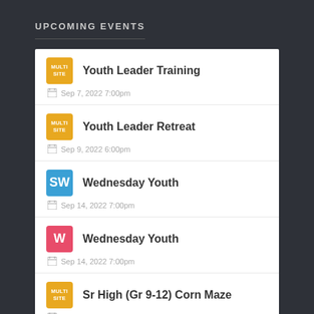UPCOMING EVENTS
Youth Leader Training | Sep 7, 2022 7:00pm
Youth Leader Retreat | Sep 9, 2022 6:00pm
Wednesday Youth | Sep 14, 2022 7:00pm
Wednesday Youth | Sep 14, 2022 7:00pm
Sr High (Gr 9-12) Corn Maze | Sep 16, 2022 6:30pm